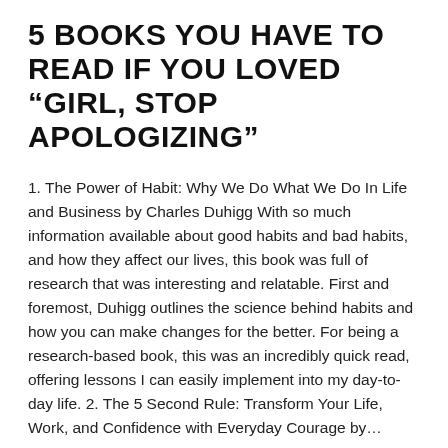5 BOOKS YOU HAVE TO READ IF YOU LOVED “GIRL, STOP APOLOGIZING”
1. The Power of Habit: Why We Do What We Do In Life and Business by Charles Duhigg With so much information available about good habits and bad habits, and how they affect our lives, this book was full of research that was interesting and relatable. First and foremost, Duhigg outlines the science behind habits and how you can make changes for the better. For being a research-based book, this was an incredibly quick read, offering lessons I can easily implement into my day-to-day life. 2. The 5 Second Rule: Transform Your Life, Work, and Confidence with Everyday Courage by…
Read more